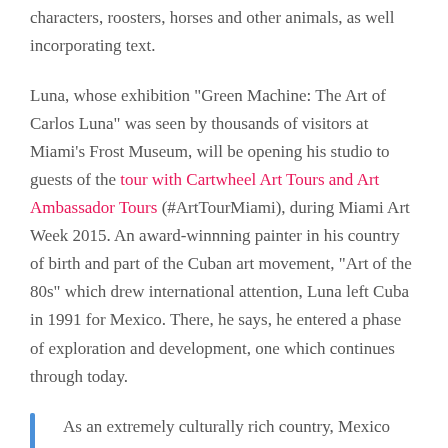characters, roosters, horses and other animals, as well incorporating text.
Luna, whose exhibition “Green Machine: The Art of Carlos Luna” was seen by thousands of visitors at Miami’s Frost Museum, will be opening his studio to guests of the tour with Cartwheel Art Tours and Art Ambassador Tours (#ArtTourMiami), during Miami Art Week 2015. An award-winnning painter in his country of birth and part of the Cuban art movement, “Art of the 80s” which drew international attention, Luna left Cuba in 1991 for Mexico. There, he says, he entered a phase of exploration and development, one which continues through today.
As an extremely culturally rich country, Mexico gave me several tools, and the